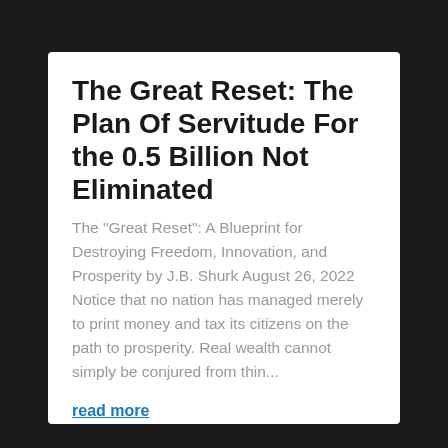The Great Reset: The Plan Of Servitude For the 0.5 Billion Not Eliminated
The "Great Reset": A Blueprint for Destroying Freedom, Innovation, and Prosperity by J.B. Shurk August 26, 2022  Notice that no nation has managed merely to print money and tax its citizens on the path to prosperity. Real wealth cannot simply be conjured from thin...
read more